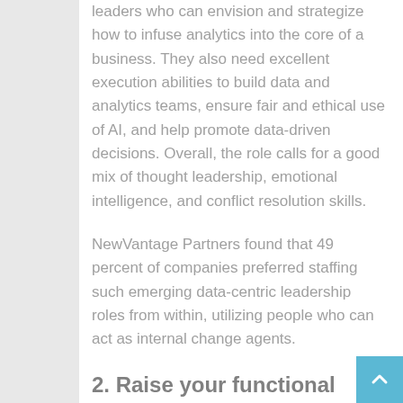leaders who can envision and strategize how to infuse analytics into the core of a business. They also need excellent execution abilities to build data and analytics teams, ensure fair and ethical use of AI, and help promote data-driven decisions. Overall, the role calls for a good mix of thought leadership, emotional intelligence, and conflict resolution skills.
NewVantage Partners found that 49 percent of companies preferred staffing such emerging data-centric leadership roles from within, utilizing people who can act as internal change agents.
2. Raise your functional expertise by leveraging AI's capabilities
Enterprises are implementing AI widely in both customer-facing offerings and internal